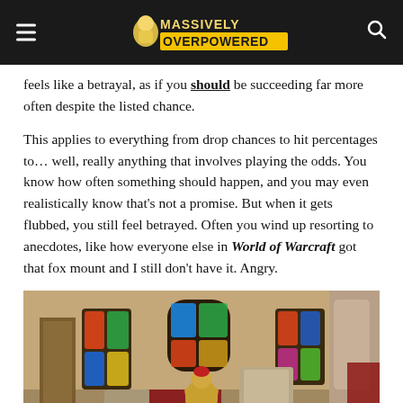Massively Overpowered
feels like a betrayal, as if you should be succeeding far more often despite the listed chance.
This applies to everything from drop chances to hit percentages to… well, really anything that involves playing the odds. You know how often something should happen, and you may even realistically know that's not a promise. But when it gets flubbed, you still feel betrayed. Often you wind up resorting to anecdotes, like how everyone else in World of Warcraft got that fox mount and I still don't have it. Angry.
[Figure (screenshot): In-game screenshot from an MMORPG showing a character in golden armor inside an ornate cathedral-like building with colorful stained glass windows and stone architecture.]